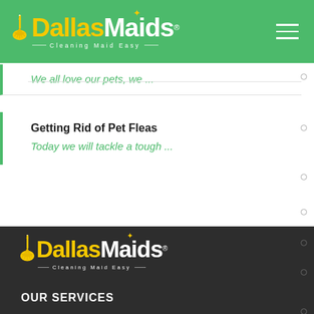Dallas Maids® - Cleaning Maid Easy
it's almost that time of year...
We all love our pets, we ...
Getting Rid of Pet Fleas
Today we will tackle a tough ...
[Figure (logo): Dallas Maids logo on dark background with broom icon, yellow 'Dallas' and white 'Maids' text, tagline 'Cleaning Maid Easy']
OUR SERVICES